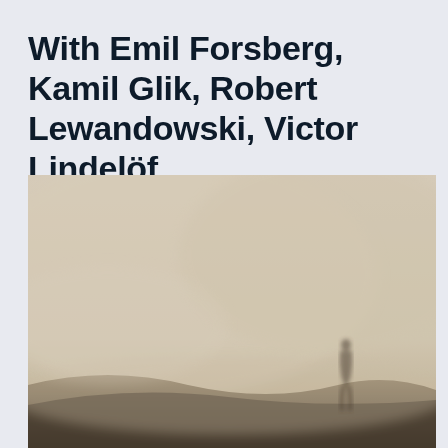With Emil Forsberg, Kamil Glik, Robert Lewandowski, Victor Lindelöf.
[Figure (photo): A foggy, misty landscape with a lone figure standing on a dark hillside in the lower right portion. The atmosphere is heavily diffused with beige/pale tones, creating a mysterious and isolated mood.]